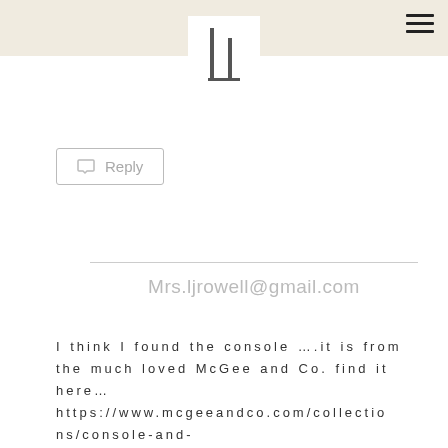[Figure (logo): Stylized logo with two vertical bars and a horizontal base line forming an abstract monogram, displayed in a white square on a tan/beige header bar]
Reply
Mrs.ljrowell@gmail.com
I think I found the console ….it is from the much loved McGee and Co. find it here… https://www.mcgeeandco.com/collections/console-and-sideboards/products/cody-lattice-